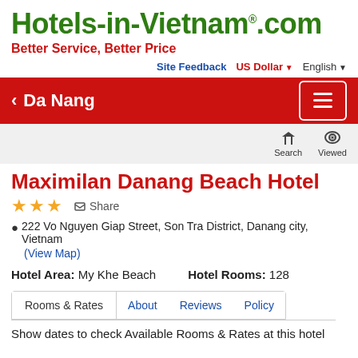[Figure (logo): Hotels-in-Vietnam.com logo in green bold text with registered trademark symbol]
Better Service, Better Price
Site Feedback  US Dollar ▼  English ▼
◀ Da Nang
Search  Viewed
Maximilan Danang Beach Hotel
★★★  Share
222 Vo Nguyen Giap Street, Son Tra District, Danang city, Vietnam
(View Map)
Hotel Area: My Khe Beach    Hotel Rooms: 128
Rooms & Rates  About  Reviews  Policy
Show dates to check Available Rooms & Rates at this hotel